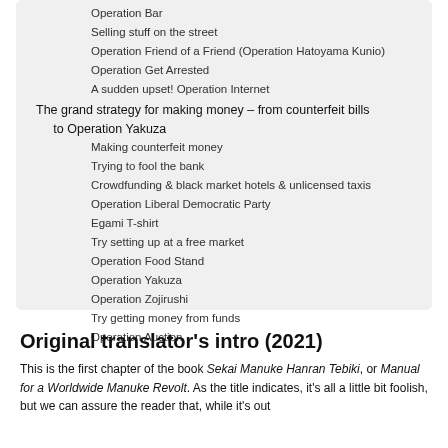Operation Bar
Selling stuff on the street
Operation Friend of a Friend (Operation Hatoyama Kunio)
Operation Get Arrested
A sudden upset! Operation Internet
The grand strategy for making money – from counterfeit bills to Operation Yakuza
Making counterfeit money
Trying to fool the bank
Crowdfunding & black market hotels & unlicensed taxis
Operation Liberal Democratic Party
Egami T-shirt
Try setting up at a free market
Operation Food Stand
Operation Yakuza
Operation Zojirushi
Try getting money from funds
Operation Auction
Original translator's intro (2021)
This is the first chapter of the book Sekai Manuke Hanran Tebiki, or Manual for a Worldwide Manuke Revolt. As the title indicates, it's all a little bit foolish, but we can assure the reader that, while it's out